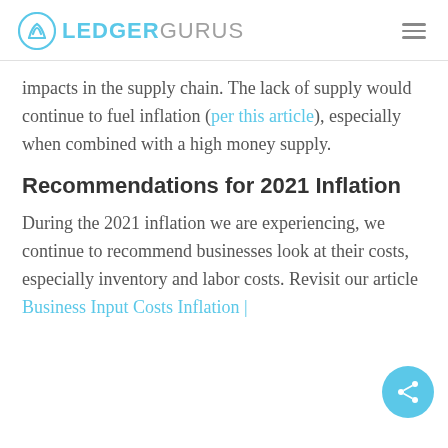LEDGERGURUS
impacts in the supply chain. The lack of supply would continue to fuel inflation (per this article), especially when combined with a high money supply.
Recommendations for 2021 Inflation
During the 2021 inflation we are experiencing, we continue to recommend businesses look at their costs, especially inventory and labor costs. Revisit our article Business Input Costs Inflation |